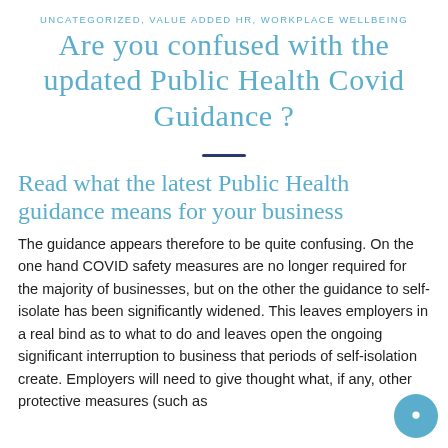UNCATEGORIZED, VALUE ADDED HR, WORKPLACE WELLBEING
Are you confused with the updated Public Health Covid Guidance ?
Read what the latest Public Health guidance means for your business
The guidance appears therefore to be quite confusing. On the one hand COVID safety measures are no longer required for the majority of businesses, but on the other the guidance to self-isolate has been significantly widened. This leaves employers in a real bind as to what to do and leaves open the ongoing significant interruption to business that periods of self-isolation create. Employers will need to give thought what, if any, other protective measures (such as